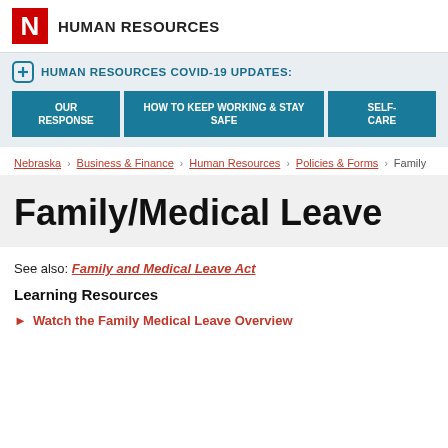HUMAN RESOURCES
HUMAN RESOURCES COVID-19 UPDATES: OUR RESPONSE | HOW TO KEEP WORKING & STAY SAFE | SELF-CARE
Nebraska > Business & Finance > Human Resources > Policies & Forms > Family
Family/Medical Leave
See also: Family and Medical Leave Act
Learning Resources
Watch the Family Medical Leave Overview